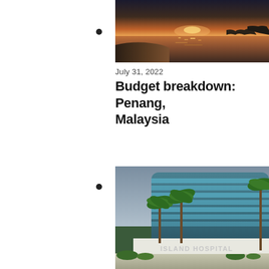[Figure (photo): Sunset over a beach and rocky coastline in Penang, Malaysia, with orange and pink sky reflecting on calm water]
July 31, 2022
Budget breakdown: Penang, Malaysia
[Figure (photo): Island Hospital building in Penang, Malaysia — a modern curved glass multi-story hospital facade with palm trees in the foreground and a large sign reading 'ISLAND HOSPITAL']